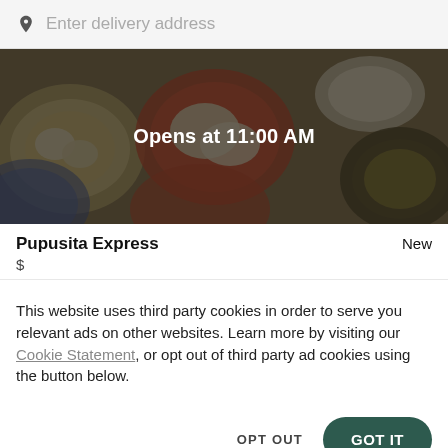Enter delivery address
[Figure (screenshot): Restaurant food banner image showing colorful dishes (pupusas, sauces, sides) with a dark overlay and centered text reading 'Opens at 11:00 AM']
Pupusita Express
New
$
This website uses third party cookies in order to serve you relevant ads on other websites. Learn more by visiting our Cookie Statement, or opt out of third party ad cookies using the button below.
OPT OUT
GOT IT